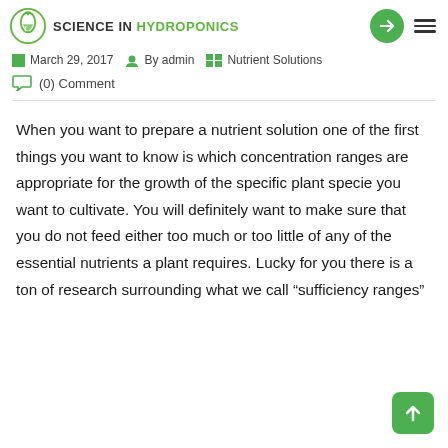SCIENCE IN HYDROPONICS
March 29, 2017   By admin   Nutrient Solutions
(0) Comment
When you want to prepare a nutrient solution one of the first things you want to know is which concentration ranges are appropriate for the growth of the specific plant specie you want to cultivate. You will definitely want to make sure that you do not feed either too much or too little of any of the essential nutrients a plant requires. Lucky for you there is a ton of research surrounding what we call “sufficiency ranges”